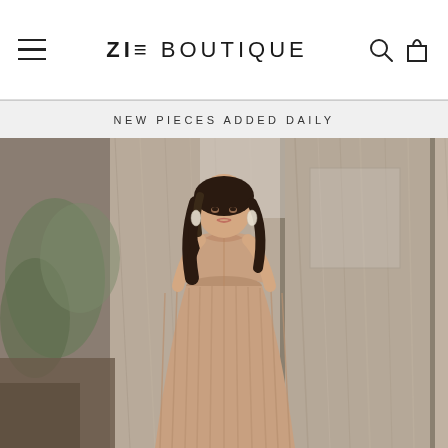ZIE BOUTIQUE — navigation header with hamburger menu, logo, search and cart icons
NEW PIECES ADDED DAILY
[Figure (photo): Woman in a pleated halter-neck maxi dress in a warm champagne/caramel tone, standing in front of wood-paneled pillars in an upscale interior setting]